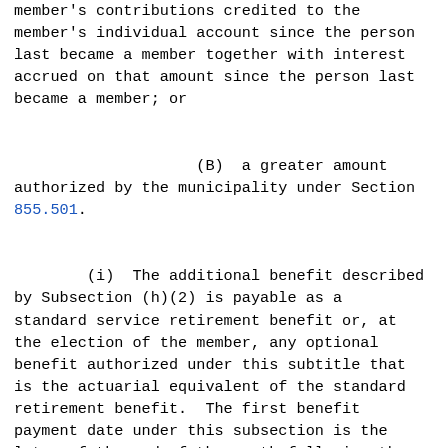member's contributions credited to the member's individual account since the person last became a member together with interest accrued on that amount since the person last became a member; or

                    (B)  a greater amount authorized by the municipality under Section 855.501.

        (i)  The additional benefit described by Subsection (h)(2) is payable as a standard service retirement benefit or, at the election of the member, any optional benefit authorized under this subtitle that is the actuarial equivalent of the standard retirement benefit.  The first benefit payment date under this subsection is the later of the end of the month following the last month of employment or the end of the month following the month in which the